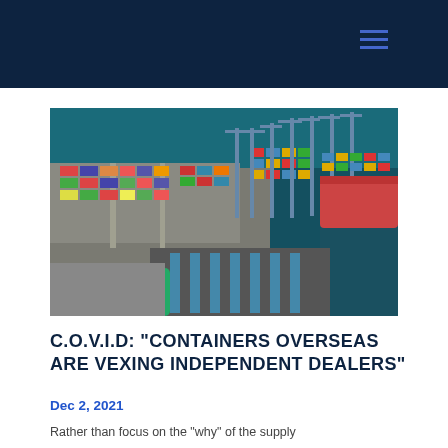[Figure (photo): Aerial view of a busy shipping container port with colorful shipping containers stacked on a dock, cranes, and a large cargo ship alongside the quay, surrounded by dark blue-green water.]
C.O.V.I.D: “CONTAINERS OVERSEAS ARE VEXING INDEPENDENT DEALERS”
Dec 2, 2021
Rather than focus on the “why” of the supply